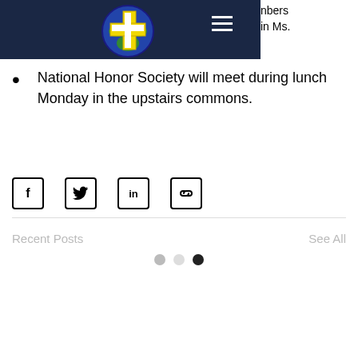Navigation bar with cross logo and hamburger menu. Partial text visible: '...mbers' and 'in Ms.'
National Honor Society will meet during lunch Monday in the upstairs commons.
[Figure (other): Share buttons row: Facebook, Twitter, LinkedIn, and link icons]
Recent Posts
See All
[Figure (other): Pagination dots: gray, light gray, dark/black]